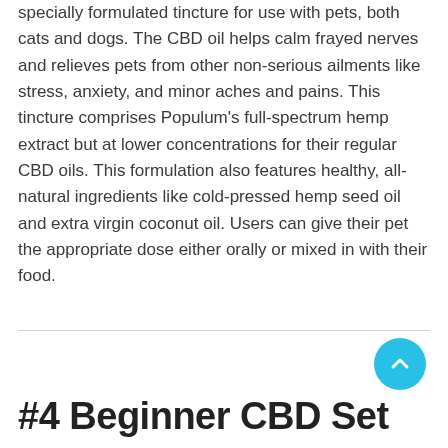specially formulated tincture for use with pets, both cats and dogs. The CBD oil helps calm frayed nerves and relieves pets from other non-serious ailments like stress, anxiety, and minor aches and pains. This tincture comprises Populum's full-spectrum hemp extract but at lower concentrations for their regular CBD oils. This formulation also features healthy, all-natural ingredients like cold-pressed hemp seed oil and extra virgin coconut oil. Users can give their pet the appropriate dose either orally or mixed in with their food.
#4 Beginner CBD Set